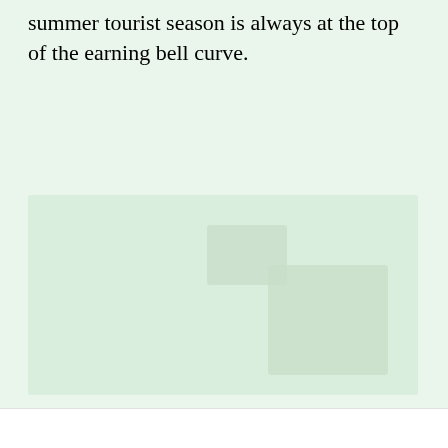summer tourist season is always at the top of the earning bell curve.
[Figure (photo): A faint, washed-out photograph or illustration with a light green tint, showing indistinct shapes. A lighter rectangular overlay appears in the bottom-right area of the image.]